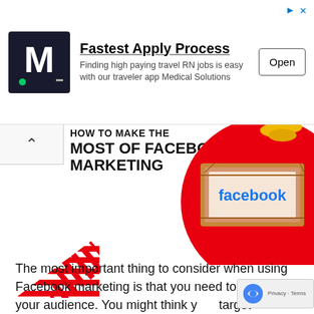[Figure (screenshot): Advertisement banner with Medical Solutions logo (M), headline 'Fastest Apply Process', subtitle 'Finding high paying travel RN jobs is easy with our traveler app Medical Solutions', and an Open button. Navigation arrows at top right.]
HOW TO MAKE THE MOST OF FACEBOOK MARKETING
[Figure (illustration): Illustration of a wooden frame sign showing the word 'facebook' in blue on a white/pink background, on a red circular background with gold coins visible at top]
[Figure (illustration): Red diagonal stripe pattern / hatched triangular decoration element]
The most important thing to consider when using Facebook marketing is that you need to know your audience. You might think your target market is your entire age range, but your products and services are tailored to those within that age range. If you have